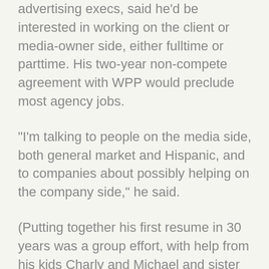advertising execs, said he'd be interested in working on the client or media-owner side, either fulltime or parttime. His two-year non-compete agreement with WPP would preclude most agency jobs.
"I'm talking to people on the media side, both general market and Hispanic, and to companies about possibly helping on the company side," he said.
(Putting together his first resume in 30 years was a group effort, with help from his kids Charly and Michael and sister Michelle. It starts "An accomplished industry veteran with a wealth of experience and passion for all things advertising, Joe Zubi is virtually a brand onto himself" and refers to his larger-than-life